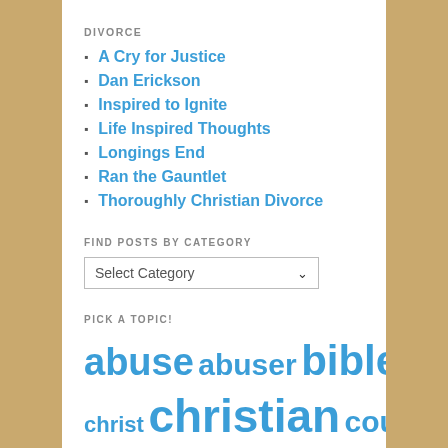DIVORCE
A Cry for Justice
Dan Erickson
Inspired to Ignite
Life Inspired Thoughts
Longings End
Ran the Gauntlet
Thoroughly Christian Divorce
FIND POSTS BY CATEGORY
Select Category
PICK A TOPIC!
abuse abuser bible biblical cancer christ christian courage covenant darkness discussion di...